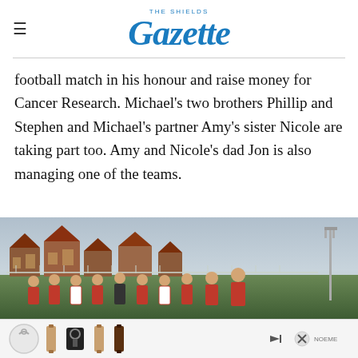THE SHIELDS Gazette
football match in his honour and raise money for Cancer Research. Michael’s two brothers Phillip and Stephen and Michael’s partner Amy’s sister Nicole are taking part too. Amy and Nicole’s dad Jon is also managing one of the teams.
[Figure (photo): A group of people in red and white football strips standing on a football pitch with houses visible in the background and an overcast sky.]
[Figure (other): Advertisement banner showing handbag/accessory products with a skip and close button.]